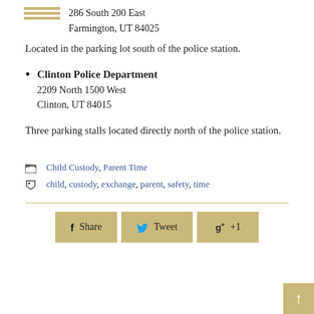286 South 200 East
Farmington, UT 84025
Located in the parking lot south of the police station.
Clinton Police Department
2209 North 1500 West
Clinton, UT 84015
Three parking stalls located directly north of the police station.
Child Custody, Parent Time
child, custody, exchange, parent, safety, time
Share  Tweet  g+ +1